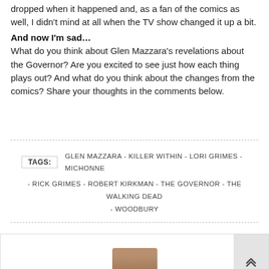dropped when it happened and, as a fan of the comics as well, I didn't mind at all when the TV show changed it up a bit.
And now I'm sad…
What do you think about Glen Mazzara's revelations about the Governor? Are you excited to see just how each thing plays out? And what do you think about the changes from the comics? Share your thoughts in the comments below.
TAGS: GLEN MAZZARA - KILLER WITHIN - LORI GRIMES - MICHONNE - RICK GRIMES - ROBERT KIRKMAN - THE GOVERNOR - THE WALKING DEAD - WOODBURY
[Figure (photo): Bottom section showing a person's photo partially visible, with a scroll-to-top button on the right side]